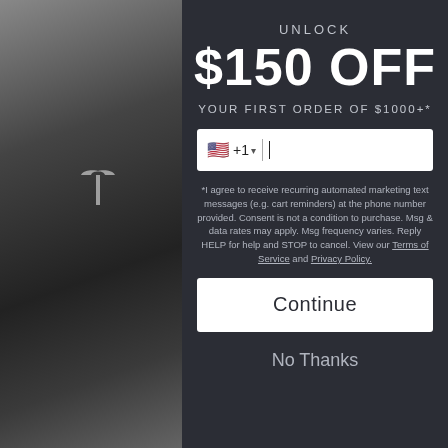[Figure (photo): Grayscale photo of a Tesla bag/accessory with Tesla T logo, serving as the left panel background]
UNLOCK
$150 OFF
YOUR FIRST ORDER OF $1000+*
*I agree to receive recurring automated marketing text messages (e.g. cart reminders) at the phone number provided. Consent is not a condition to purchase. Msg & data rates may apply. Msg frequency varies. Reply HELP for help and STOP to cancel. View our Terms of Service and Privacy Policy.
Continue
No Thanks